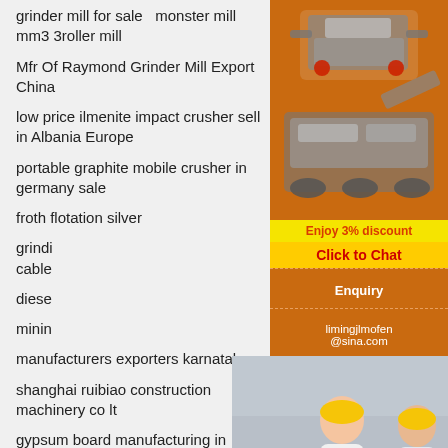grinder mill for sale   monster mill mm3 3roller mill
Mfr Of Raymond Grinder Mill Export China
low price ilmenite impact crusher sell in Albania Europe
portable graphite mobile crusher in germany sale
froth flotation silver
grinding ... cable ...
diesel ...
mining ...
manufacturers exporters karnataka
shanghai ruibiao construction machinery co ltd
gypsum board manufacturing in ethiopia files
brand jaw crusher for primary crushing
red rino greenwste crusher
old used stone crusher at gujrat
[Figure (screenshot): Live chat popup overlay with workers in hard hats, 'LIVE CHAT' title, 'Click for a Free Consultation', Chat now and Chat later buttons]
[Figure (infographic): Right sidebar with orange background showing mining machinery images, Enjoy 3% discount, Click to Chat, Enquiry, and limingjlmofen@sina.com]